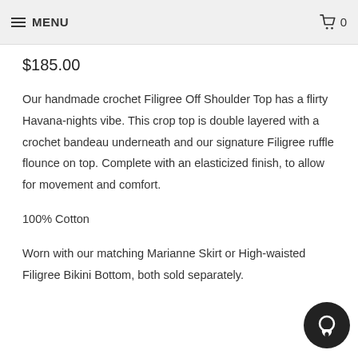MENU   0
$185.00
Our handmade crochet Filigree Off Shoulder Top has a flirty Havana-nights vibe. This crop top is double layered with a crochet bandeau underneath and our signature Filigree ruffle flounce on top. Complete with an elasticized finish, to allow for movement and comfort.
100% Cotton
Worn with our matching Marianne Skirt or High-waisted Filigree Bikini Bottom, both sold separately.